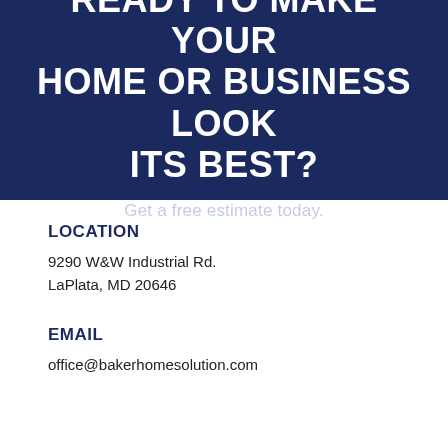READY TO MAKE YOUR HOME OR BUSINESS LOOK ITS BEST?
Get a free estimate today.
LOCATION
9290 W&W Industrial Rd.
LaPlata, MD 20646
EMAIL
office@bakerhomesolution.com